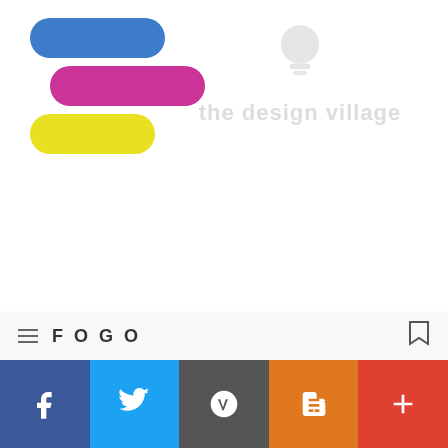[Figure (logo): Three horizontal pill/capsule shapes stacked: blue on top, pink/magenta in middle, yellow on bottom — logo mark]
[Figure (illustration): Faint watermark of a design village logo with icon and text 'the design village' in light gray]
acs #lucknow best #design #coaching in lucknow best nift
[Figure (other): Slider UI element: gray circle dot and a gray horizontal line]
FOGO — bottom navigation bar with menu icon and bookmark icon
[Figure (other): Social sharing bar with Facebook, Twitter, WordPress, Blogger, and plus (+) buttons]